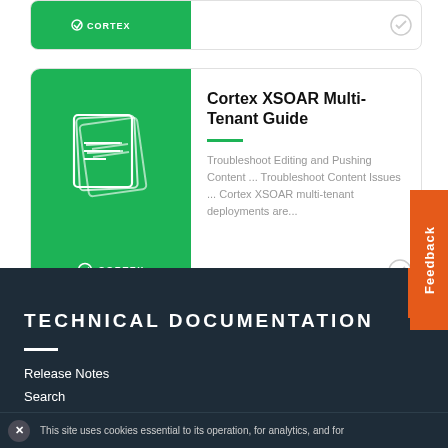[Figure (screenshot): Partial Cortex product card with green left panel and Cortex logo, partially visible at top of page]
[Figure (screenshot): Cortex XSOAR Multi-Tenant Guide product card with green left panel showing document icons and Cortex logo, and content area showing title and description text]
Cortex XSOAR Multi-Tenant Guide
Troubleshoot Editing and Pushing Content ... Troubleshoot Content Issues ... Cortex XSOAR multi-tenant deployments are...
TECHNICAL DOCUMENTATION
Release Notes
Search
This site uses cookies essential to its operation, for analytics, and for